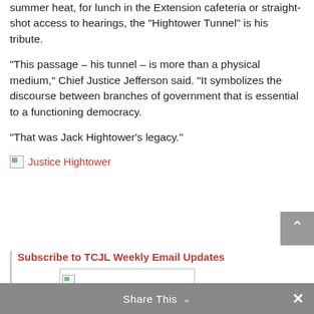summer heat, for lunch in the Extension cafeteria or straight-shot access to hearings, the “Hightower Tunnel” is his tribute.
“This passage – his tunnel – is more than a physical medium,” Chief Justice Jefferson said. “It symbolizes the discourse between branches of government that is essential to a functioning democracy.
“That was Jack Hightower’s legacy.”
[Figure (photo): Broken image placeholder labeled 'Justice Hightower' shown as a red link with broken image icon]
Subscribe to TCJL Weekly Email Updates
[Figure (photo): Broken image placeholder for subscription form or image]
Share This